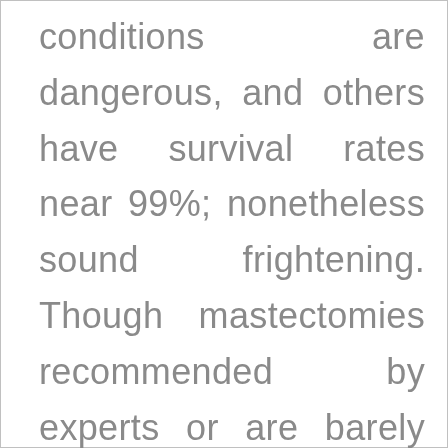conditions are dangerous, and others have survival rates near 99%; nonetheless sound frightening. Though mastectomies recommended by experts or are barely needed, many women undergo mastectomies. Studies suggest that this is likely in the Midwest, and Southwest portions of the